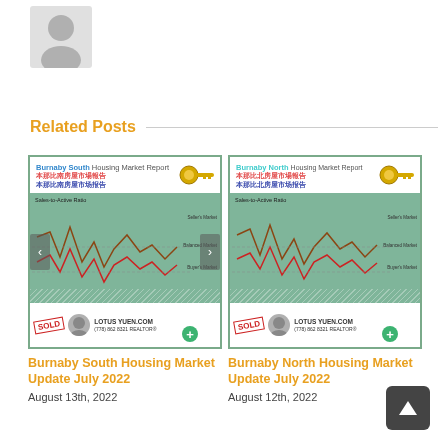[Figure (illustration): Gray silhouette avatar/profile image placeholder showing a person icon]
Related Posts
[Figure (screenshot): Thumbnail of Burnaby South Housing Market Report July 2022 showing a line chart (Sales-to-Active Ratio) with Sold stamp and LotusYuen.com branding]
Burnaby South Housing Market Update July 2022
August 13th, 2022
[Figure (screenshot): Thumbnail of Burnaby North Housing Market Report July 2022 showing a line chart (Sales-to-Active Ratio) with Sold stamp and LotusYuen.com branding]
Burnaby North Housing Market Update July 2022
August 12th, 2022